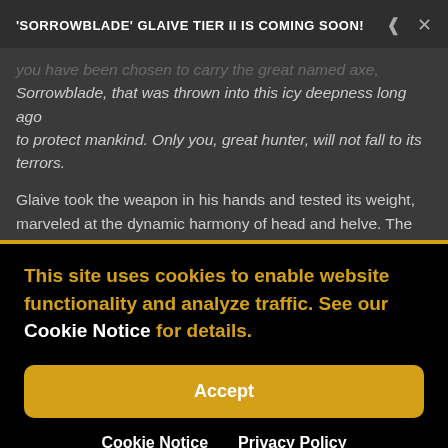'SORROWBLADE' GLAIVE TIER II IS COMING SOON!
you have been chosen to carry the great named axe, Sorrowblade, that was thrown into this icy deepness long ago to protect mankind. Only you, great hunter, will not fall to its terrors.
Glaive took the weapon in his hands and tested its weight, marveled at the dynamic harmony of head and helve. The axe
This site uses cookies to enable website functionality and analyze traffic. See our Cookie Notice for details.
Accept
Cookie Notice   Privacy Policy